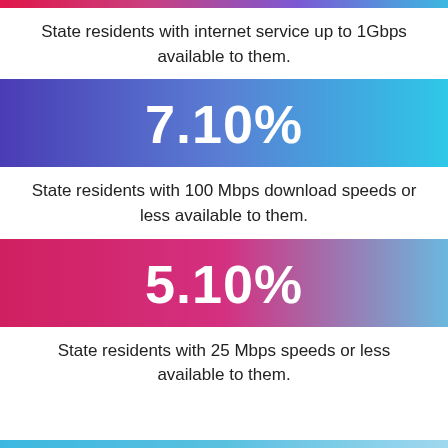State residents with internet service up to 1Gbps available to them.
[Figure (infographic): Blue-cyan gradient banner displaying the statistic 7.10%]
State residents with 100 Mbps download speeds or less available to them.
[Figure (infographic): Pink-cyan gradient banner displaying the statistic 5.10%]
State residents with 25 Mbps speeds or less available to them.